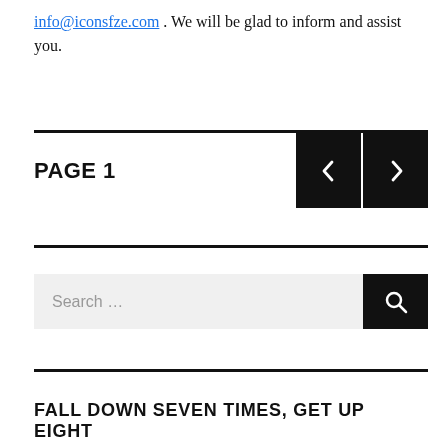info@iconsfze.com . We will be glad to inform and assist you.
PAGE 1
[Figure (other): Navigation buttons: left arrow and right arrow on black background]
[Figure (other): Search bar with search icon button]
FALL DOWN SEVEN TIMES, GET UP EIGHT